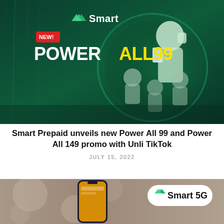[Figure (illustration): Smart PowerAll99 advertisement banner with green background, young people celebrating, Smart logo, red 'NEW!' badge, and 'POWERALL99' text in large white and yellow letters.]
Smart Prepaid unveils new Power All 99 and Power All 149 promo with Unli TikTok
JULY 15, 2022
[Figure (photo): Photo of a smartphone with a blurred background and a Smart 5G logo badge in the top right corner.]